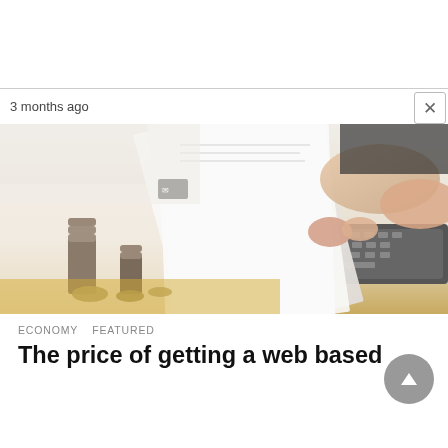3 months ago
[Figure (photo): Person's hands flipping through papers/documents on a keyboard with coins and stacked coins visible on desk in background]
ECONOMY   FEATURED
The price of getting a web based